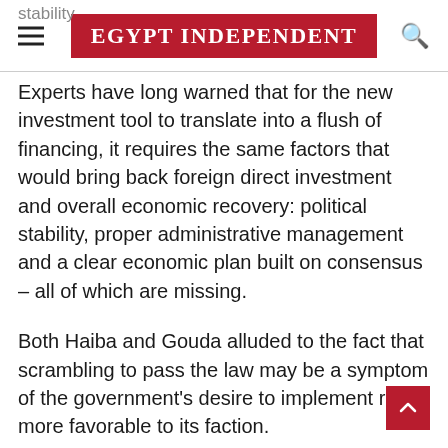EGYPT INDEPENDENT
Experts have long warned that for the new investment tool to translate into a flush of financing, it requires the same factors that would bring back foreign direct investment and overall economic recovery: political stability, proper administrative management and a clear economic plan built on consensus – all of which are missing.
Both Haiba and Gouda alluded to the fact that scrambling to pass the law may be a symptom of the government's desire to implement rules more favorable to its faction.
“It all comes down to what is in the best interest of the group, not that of the nation,” says Haiba,